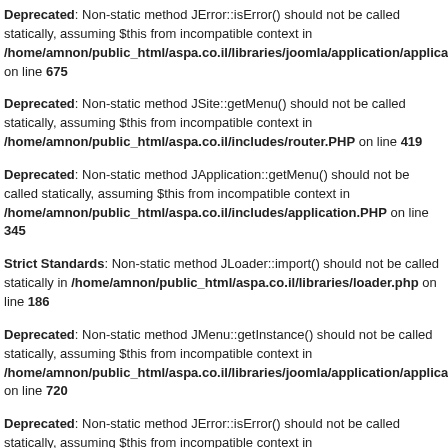Deprecated: Non-static method JError::isError() should not be called statically, assuming $this from incompatible context in /home/amnon/public_html/aspa.co.il/libraries/joomla/application/application.php on line 675
Deprecated: Non-static method JSite::getMenu() should not be called statically, assuming $this from incompatible context in /home/amnon/public_html/aspa.co.il/includes/router.php on line 419
Deprecated: Non-static method JApplication::getMenu() should not be called statically, assuming $this from incompatible context in /home/amnon/public_html/aspa.co.il/includes/application.PHP on line 345
Strict Standards: Non-static method JLoader::import() should not be called statically in /home/amnon/public_html/aspa.co.il/libraries/loader.php on line 186
Deprecated: Non-static method JMenu::getInstance() should not be called statically, assuming $this from incompatible context in /home/amnon/public_html/aspa.co.il/libraries/joomla/application/application.php on line 720
Deprecated: Non-static method JError::isError() should not be called statically, assuming $this from incompatible context in /home/amnon/public_html/aspa.co.il/libraries/joomla/application/application.php